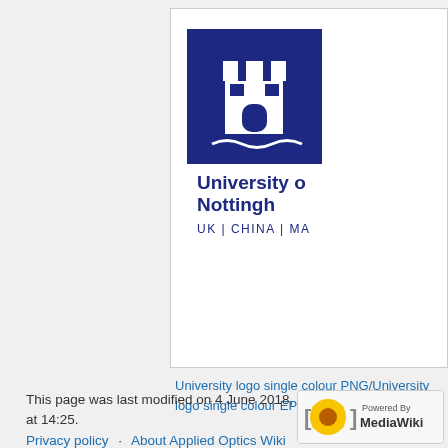[Figure (logo): University of Nottingham logo with blue square containing white castle/tower icon and text 'University of Nottingham UK | CHINA | MALAYSIA']
University logo single colour PNG/University logo single colour EPS
This page was last modified on 4 June 2018, at 14:25.
Privacy policy   About Applied Optics Wiki
Disclaimers
[Figure (logo): Powered by MediaWiki badge]